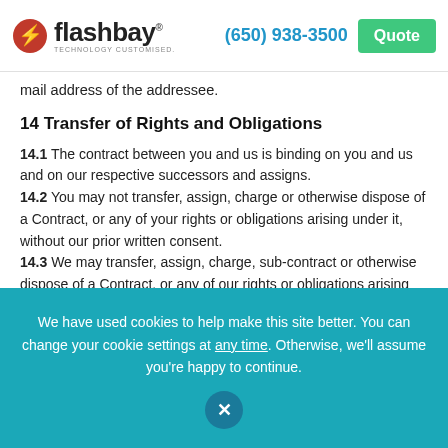flashbay® TECHNOLOGY CUSTOMISED. (650) 938-3500 Quote
mail address of the addressee.
14 Transfer of Rights and Obligations
14.1 The contract between you and us is binding on you and us and on our respective successors and assigns.
14.2 You may not transfer, assign, charge or otherwise dispose of a Contract, or any of your rights or obligations arising under it, without our prior written consent.
14.3 We may transfer, assign, charge, sub-contract or otherwise dispose of a Contract, or any of our rights or obligations arising under it, at any time during the term of the Contract without
We have used cookies to help make this site better. You can change your cookie settings at any time. Otherwise, we'll assume you're happy to continue.